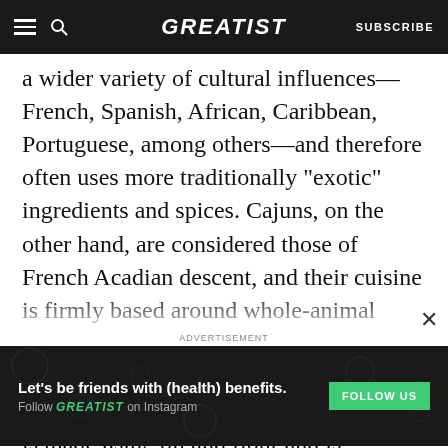GREATIST | SUBSCRIBE
a wider variety of cultural influences—French, Spanish, African, Caribbean, Portuguese, among others—and therefore often uses more traditionally “exotic” ingredients and spices. Cajuns, on the other hand, are considered those of French Acadian descent, and their cuisine is firmly based around whole-animal butchery, indigenous seafood, and more local ingredients and bold seasonings. Which is why the roux in Cajun étouffée is made using oil and flour and is typically darker, whereas in Creole cuisine, it’s butter and
[Figure (screenshot): Advertisement banner with dark background reading 'Let’s be friends with (health) benefits. Follow GREATIST on Instagram' with a green FOLLOW US button.]